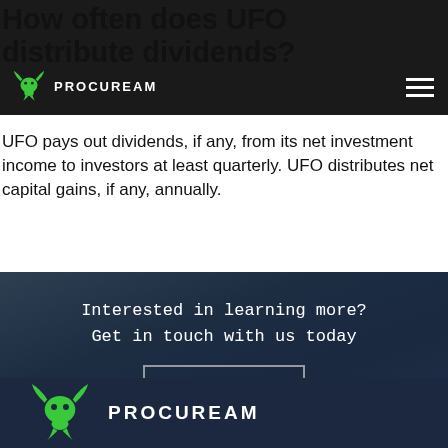PROCUREAM
How often does UFO distribute dividends?
UFO pays out dividends, if any, from its net investment income to investors at least quarterly. UFO distributes net capital gains, if any, annually.
Interested in learning more?
Get in touch with us today
Contact Us
[Figure (logo): Procuream green dragon logo with PROCUREAM text in footer]